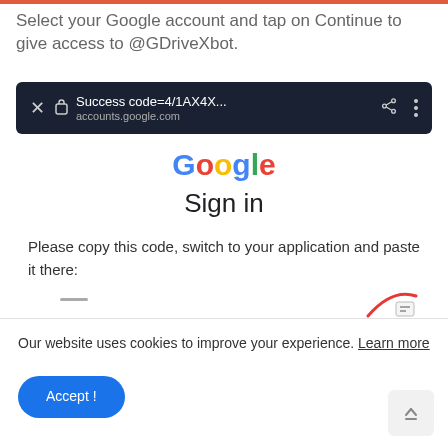Select your Google account and tap on Continue to give access to @GDriveXbot.
[Figure (screenshot): Browser address bar showing: Success code=4/1AX4X... accounts.google.com on dark background]
[Figure (logo): Google logo in multicolor text]
Sign in
Please copy this code, switch to your application and paste it there:
Our website uses cookies to improve your experience. Learn more
Accept !